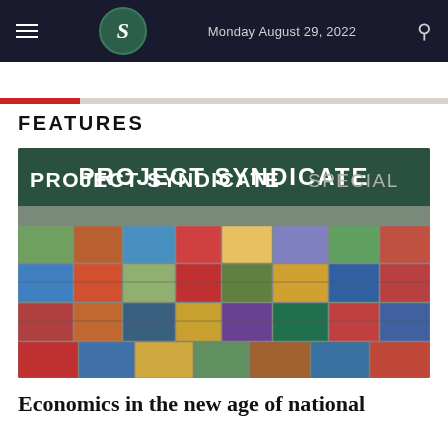Monday August 29, 2022
FEATURES
[Figure (photo): Project Syndicate Special banner over a photo of stacked colorful shipping containers at a port]
Economics in the new age of national